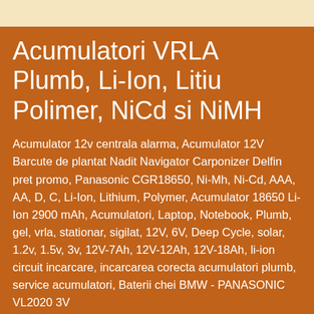Acumulatori VRLA Plumb, Li-Ion, Litiu Polimer, NiCd si NiMH
Acumulator 12v centrala alarma, Acumulator 12V Barcute de plantat Nadit Navigator Carponizer Delfin pret promo, Panasonic CGR18650, Ni-Mh, Ni-Cd, AAA, AA, D, C, Li-Ion, Lithium, Polymer, Acumulator 18650 Li-Ion 2900 mAh, Acumulatori, Laptop, Notebook, Plumb, gel, vrla, stationar, sigilat, 12V, 6V, Deep Cycle, solar, 1.2v, 1.5v, 3v, 12V-7Ah, 12V-12Ah, 12V-18Ah, li-ion circuit incarcare, incarcarea corecta acumulatori plumb, service acumulatori, Baterii chei BMW - PANASONIC VL2020 3V
marți, 7 aprilie 2015
Acumulatori / Baterii laptop Toshiba orice model Pret mic Livrare din stoc